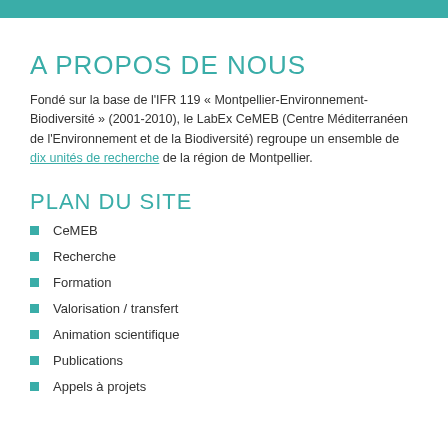A PROPOS DE NOUS
Fondé sur la base de l'IFR 119 « Montpellier-Environnement-Biodiversité » (2001-2010),  le LabEx CeMEB (Centre Méditerranéen de l'Environnement et de la Biodiversité) regroupe un ensemble de dix unités de recherche de la région de Montpellier.
PLAN DU SITE
CeMEB
Recherche
Formation
Valorisation / transfert
Animation scientifique
Publications
Appels à projets